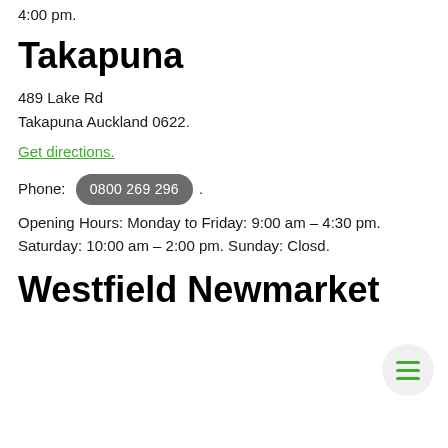4:00 pm.
Takapuna
489 Lake Rd
Takapuna Auckland 0622.
Get directions.
Phone: 0800 269 296.
Opening Hours: Monday to Friday: 9:00 am – 4:30 pm. Saturday: 10:00 am – 2:00 pm. Sunday: Closd.
Westfield Newmarket